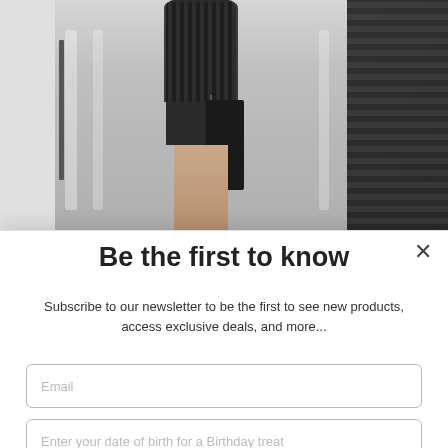[Figure (photo): Fashion photo showing a woman in dark fur coat and mini skirt holding a chain bag, walking on a wet street. Partial dark fluffy coat visible on right side. Light colored area on left.]
Be the first to know
Subscribe to our newsletter to be the first to see new products, access exclusive deals, and more...
Email
Enter your date of birth for a Birthday treat